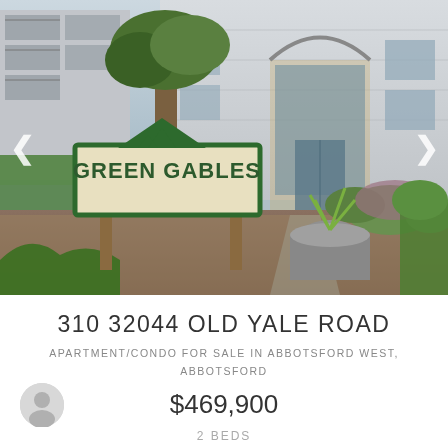[Figure (photo): Exterior photo of Green Gables apartment complex showing the building entrance with arched facade and a prominent green and cream sign reading GREEN GABLES in the foreground, with landscaped gardens, shrubs, and a potted plant. Navigation arrows on left and right sides of the image.]
310 32044 OLD YALE ROAD
APARTMENT/CONDO FOR SALE IN ABBOTSFORD WEST, ABBOTSFORD
$469,900
2 BEDS